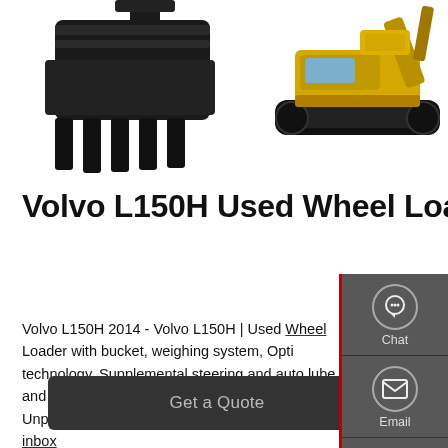[Figure (photo): Two heavy construction machines: a large excavator bucket/attachment on the left (dark/black), and a yellow-and-black tracked excavator on the right, both against a white background.]
Volvo L150H Used Wheel Loader For Sale | Equippo.Com
Volvo L150H 2014 - Volvo L150H | Used Wheel Loader with bucket, weighing system, Opti technology, Supplemental steering and auto lube and allows for a faster sale and delivery. Unpublished Receive the latest listings in your inbox ...